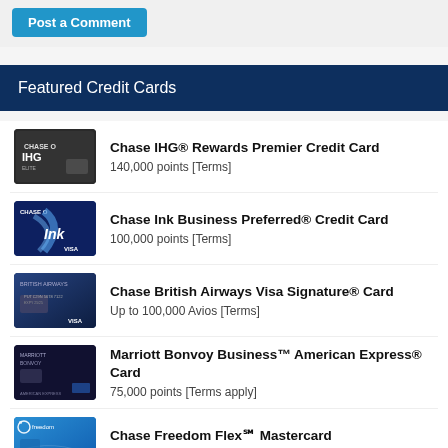Post a Comment
Featured Credit Cards
Chase IHG® Rewards Premier Credit Card
140,000 points [Terms]
Chase Ink Business Preferred® Credit Card
100,000 points [Terms]
Chase British Airways Visa Signature® Card
Up to 100,000 Avios [Terms]
Marriott Bonvoy Business™ American Express® Card
75,000 points [Terms apply]
Chase Freedom Flex℠ Mastercard
$200 in the form of 20,000 points [Terms]
Citi Rewards+
20K Points+10 Points Minimum On All Purchases+10% Rebate [Terms]